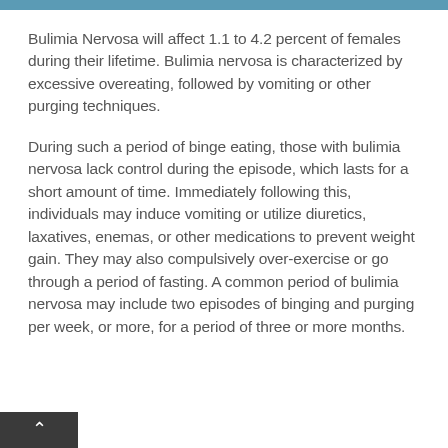Bulimia Nervosa will affect 1.1 to 4.2 percent of females during their lifetime. Bulimia nervosa is characterized by excessive overeating, followed by vomiting or other purging techniques.
During such a period of binge eating, those with bulimia nervosa lack control during the episode, which lasts for a short amount of time. Immediately following this, individuals may induce vomiting or utilize diuretics, laxatives, enemas, or other medications to prevent weight gain. They may also compulsively over-exercise or go through a period of fasting. A common period of bulimia nervosa may include two episodes of binging and purging per week, or more, for a period of three or more months.